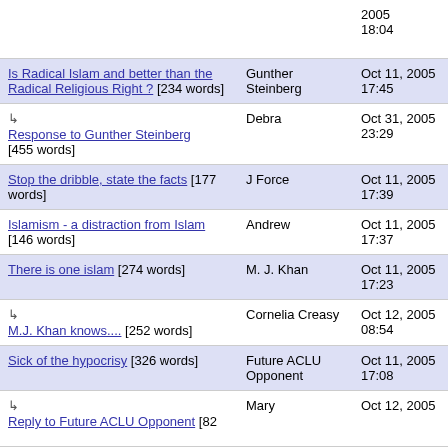2005 18:04 (partial row at top)
Is Radical Islam and better than the Radical Religious Right ? [234 words] | Gunther Steinberg | Oct 11, 2005 17:45
↳ Response to Gunther Steinberg [455 words] | Debra | Oct 31, 2005 23:29
Stop the dribble, state the facts [177 words] | J Force | Oct 11, 2005 17:39
Islamism - a distraction from Islam [146 words] | Andrew | Oct 11, 2005 17:37
There is one islam [274 words] | M. J. Khan | Oct 11, 2005 17:23
↳ M.J. Khan knows.... [252 words] | Cornelia Creasy | Oct 12, 2005 08:54
Sick of the hypocrisy [326 words] | Future ACLU Opponent | Oct 11, 2005 17:08
↳ Reply to Future ACLU Opponent [82 words] | Mary | Oct 12, 2005